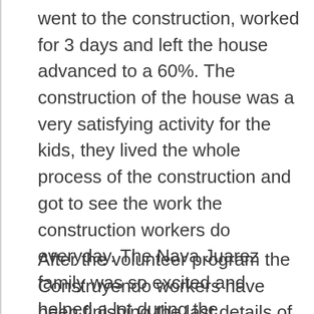went to the construction, worked for 3 days and left the house advanced to a 60%. The construction of the house was a very satisfying activity for the kids, they lived the whole process of the construction and got to see the work the construction workers do everyday. The Nava Juarez family was so excited and helped a lot during the construction, they made a really nice bond with all the volunteers.
After the volunteer program the Construyendo workers have been finishing the last details of the